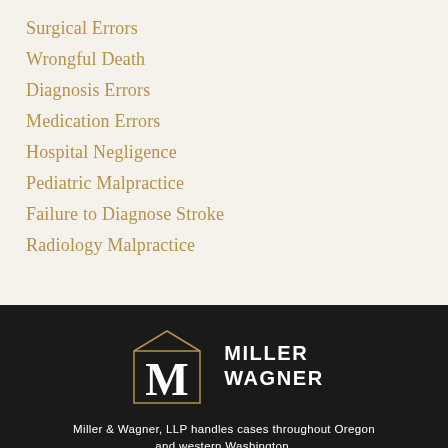Surgical Errors
Wrongful Death
Diagnosis Errors
Medication Errors
Hospital Negligence
Pediatric Malpractice
Failure to Diagnose Stroke
Radiology Malpractice
[Figure (logo): Miller Wagner law firm logo: a square border with a stylized M monogram inside, with a rooftop arch shape above, beside the text MILLER WAGNER in bold white capitals]
Miller & Wagner, LLP handles cases throughout Oregon and western Washington.